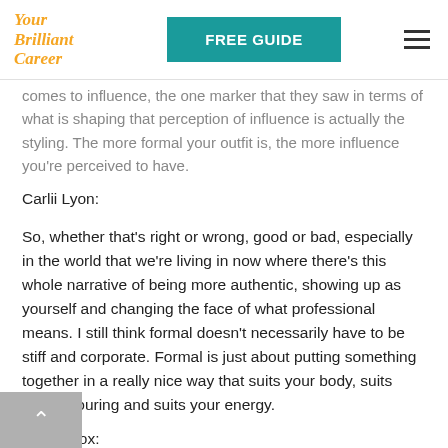Your Brilliant Career | FREE GUIDE
comes to influence, the one marker that they saw in terms of what is shaping that perception of influence is actually the styling. The more formal your outfit is, the more influence you're perceived to have.
Carlii Lyon:
So, whether that's right or wrong, good or bad, especially in the world that we're living in now where there's this whole narrative of being more authentic, showing up as yourself and changing the face of what professional means. I still think formal doesn't necessarily have to be stiff and corporate. Formal is just about putting something together in a really nice way that suits your body, suits your colouring and suits your energy.
Gillian Fox: